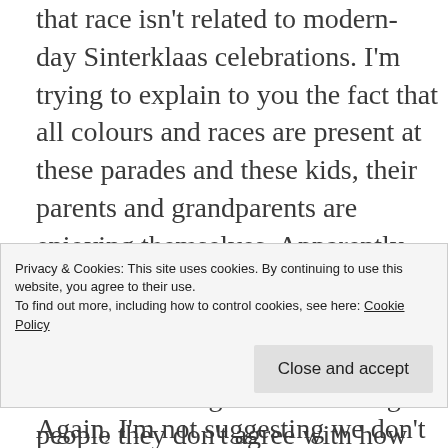that race isn't related to modern-day Sinterklaas celebrations. I'm trying to explain to you the fact that all colours and races are present at these parades and these kids, their parents and grandparents are enjoying themselves. Apparently, they are all wrong.
I'm not trying to ignore there's four people in the crowd of thousands, who are wearing a T-shirt telling people they don't agree with how
Privacy & Cookies: This site uses cookies. By continuing to use this website, you agree to their use.
To find out more, including how to control cookies, see here: Cookie Policy
Again, I'm not suggesting we don't